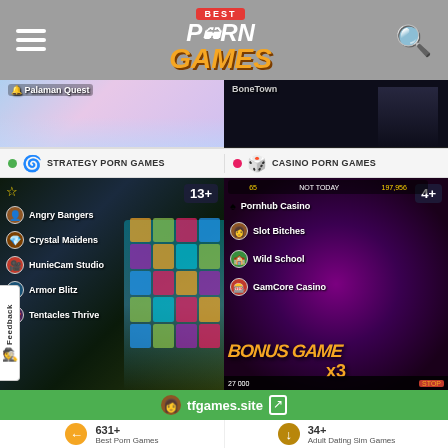Best Porn Games
[Figure (screenshot): Partial game preview images - left side anime style, right side dark theme with 'BoneTown' label]
STRATEGY PORN GAMES
CASINO PORN GAMES
[Figure (screenshot): Strategy porn games panel showing game list: Angry Bangers, Crystal Maidens, HunieCam Studio, Armor Blitz, Tentacles Thrive. Badge: 13+]
[Figure (screenshot): Casino porn games panel showing: Pornhub Casino, Slot Bitches, Wild School, GamCore Casino. Badge: 4+. BONUS GAME x3 text overlay]
tfgames.site
631+
Best Porn Games
34+
Adult Dating Sim Games